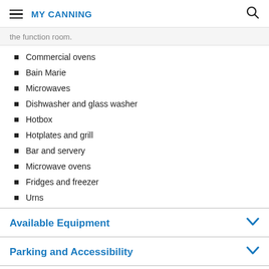MY CANNING
the function room.
Commercial ovens
Bain Marie
Microwaves
Dishwasher and glass washer
Hotbox
Hotplates and grill
Bar and servery
Microwave ovens
Fridges and freezer
Urns
Available Equipment
Parking and Accessibility